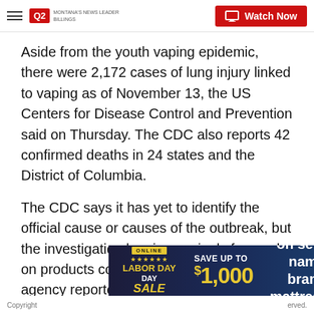Q2 MONTANA'S NEWS LEADER | Watch Now
Aside from the youth vaping epidemic, there were 2,172 cases of lung injury linked to vaping as of November 13, the US Centers for Disease Control and Prevention said on Thursday. The CDC also reports 42 confirmed deaths in 24 states and the District of Columbia.
The CDC says it has yet to identify the official cause or causes of the outbreak, but the investigation has increasingly focused on products containing THC. Last week, the agency reported its first "potential chemical of concern": vitamin E acetate, an additive sometimes used in THC and other vaping products.
[Figure (infographic): Advertisement banner: SAVE UP TO $1,000 on select name brand mattresses - LABOR DAY SALE - SHOP NOW]
Copyright ... erved.